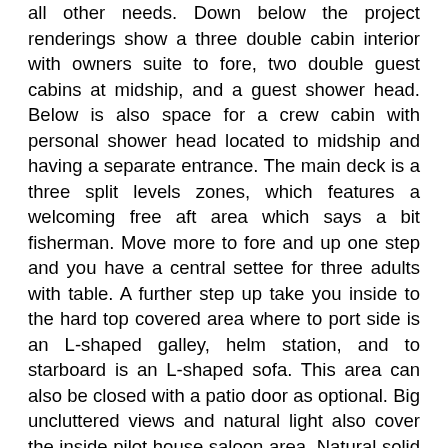all other needs. Down below the project renderings show a three double cabin interior with owners suite to fore, two double guest cabins at midship, and a guest shower head. Below is also space for a crew cabin with personal shower head located to midship and having a separate entrance. The main deck is a three split levels zones, which features a welcoming free aft area which says a bit fisherman. Move more to fore and up one step and you have a central settee for three adults with table. A further step up take you inside to the hard top covered area where to port side is an L-shaped galley, helm station, and to starboard is an L-shaped sofa. This area can also be closed with a patio door as optional. Big uncluttered views and natural light also cover the inside pilot house saloon area. Natural solid hard woods and selected leathers will fill the interior to a clean and classic style. As is usual to Rose Island big study has also been done to offer a good hull without the need of too much horse power but still managing good speeds and efficiency. A target total 700 horse power is so far the basis with options of a direct line shaft or Volvo IPS pod propulsion. With this Fabio Rosa is estimating a thirty knots wide open throttle, and on the plane only eleven knots speed which should give